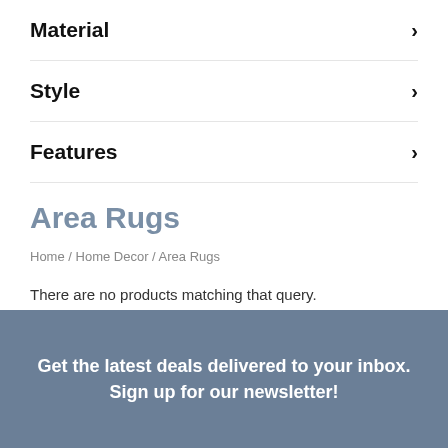Material ›
Style ›
Features ›
Area Rugs
Home / Home Decor / Area Rugs
There are no products matching that query.
Get the latest deals delivered to your inbox. Sign up for our newsletter!